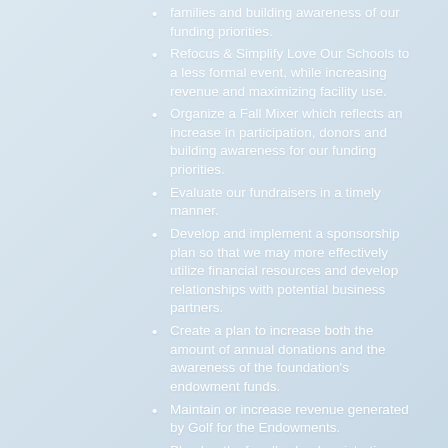families and building awareness of our funding priorities.
Refocus & Simplify Love Our Schools to a less formal event, while increasing revenue and maximizing facility use.
Organize a Fall Mixer which reflects an increase in participation, donors and building awareness for our funding priorities.
Evaluate our fundraisers in a timely manner.
Develop and implement a sponsorship plan so that we may more effectively utilize financial resources and develop relationships with potential business partners.
Create a plan to increase both the amount of annual donations and the awareness of the foundation's endowment funds.
Maintain or increase revenue generated by Golf for the Endowments.
Plan booths for all school registration days, which serve to build awareness of the Foundation and increase the number of district families who make donations.
Develop strategies for soliciting donors in the district.